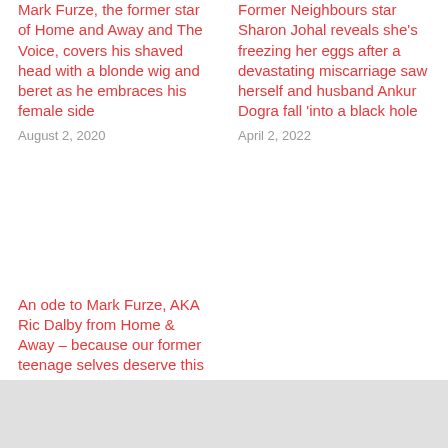Mark Furze, the former star of Home and Away and The Voice, covers his shaved head with a blonde wig and beret as he embraces his female side
August 2, 2020
Former Neighbours star Sharon Johal reveals she's freezing her eggs after a devastating miscarriage saw herself and husband Ankur Dogra fall 'into a black hole
April 2, 2022
An ode to Mark Furze, AKA Ric Dalby from Home & Away – because our former teenage selves deserve this
May 6, 2020